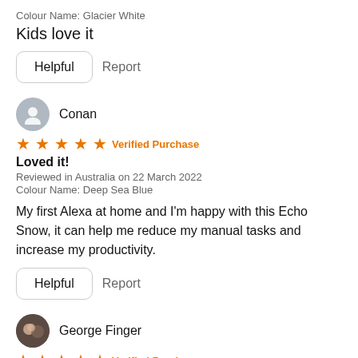Colour Name: Glacier White
Kids love it
Helpful   Report
Conan
★★★★★ Verified Purchase
Loved it!
Reviewed in Australia on 22 March 2022
Colour Name: Deep Sea Blue
My first Alexa at home and I'm happy with this Echo Snow, it can help me reduce my manual tasks and increase my productivity.
Helpful   Report
George Finger
★★★★★ Verified Purchase